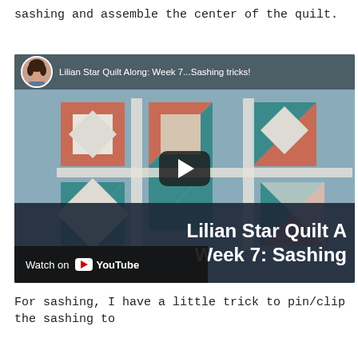sashing and assemble the center of the quilt.
[Figure (screenshot): YouTube video thumbnail for 'Lilian Star Quilt Along: Week 7...Sashing tricks!' showing a quilt with teal, white, and terracotta/salmon colored star blocks. There is a play button in the center, an avatar of a woman with curly hair in the top-left corner, title text at top, large title text overlay at bottom right reading 'Lilian Star Quilt A... Week 7: Sashing...' and a 'Watch on YouTube' bar at the bottom left.]
For sashing, I have a little trick to pin/clip the sashing to